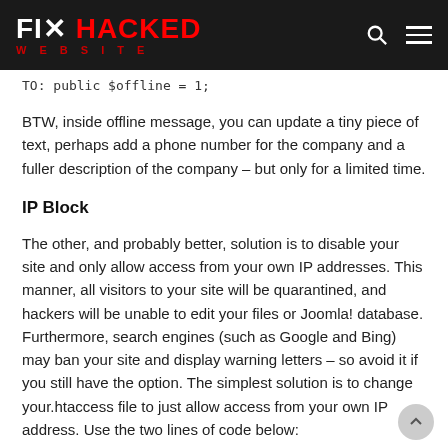FIX HACKED WEBSITE
TO: public $offline = 1;
BTW, inside offline message, you can update a tiny piece of text, perhaps add a phone number for the company and a fuller description of the company – but only for a limited time.
IP Block
The other, and probably better, solution is to disable your site and only allow access from your own IP addresses. This manner, all visitors to your site will be quarantined, and hackers will be unable to edit your files or Joomla! database. Furthermore, search engines (such as Google and Bing) may ban your site and display warning letters – so avoid it if you still have the option. The simplest solution is to change your.htaccess file to just allow access from your own IP address. Use the two lines of code below: